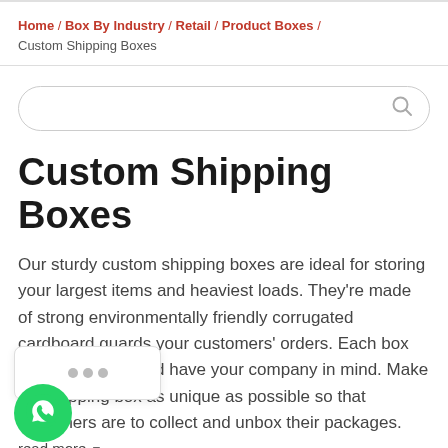Home / Box By Industry / Retail / Product Boxes / Custom Shipping Boxes
[Figure (screenshot): Search input box with magnifying glass icon]
Custom Shipping Boxes
Our sturdy custom shipping boxes are ideal for storing your largest items and heaviest loads. They're made of strong environmentally friendly corrugated cardboard guards your customers' orders. Each box you ship out should have your company in mind. Make the shipping box as unique as possible so that customers are to collect and unbox their packages.
read more ▾